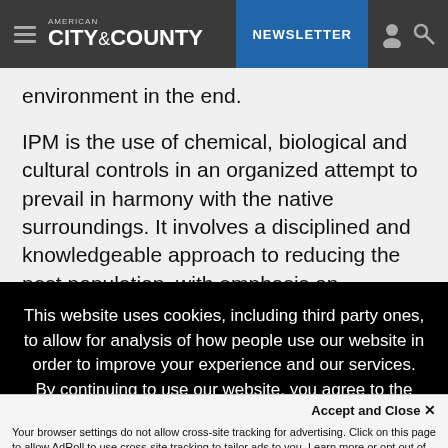AMERICAN CITY & COUNTY | NEWSLETTER
environment in the end.
IPM is the use of chemical, biological and cultural controls in an organized attempt to prevail in harmony with the native surroundings. It involves a disciplined and knowledgeable approach to reducing the pest population, with emphasis on synchronizing these
This website uses cookies, including third party ones, to allow for analysis of how people use our website in order to improve your experience and our services. By continuing to use our website, you agree to the use of such cookies. Click here for more information on our Cookie Policy and Privacy Policy
Accept and Close ✕
Your browser settings do not allow cross-site tracking for advertising. Click on this page to allow AdRoll to use cross-site tracking to tailor ads to you. Learn more or opt out of this AdRoll tracking by clicking here. This message only appears once.